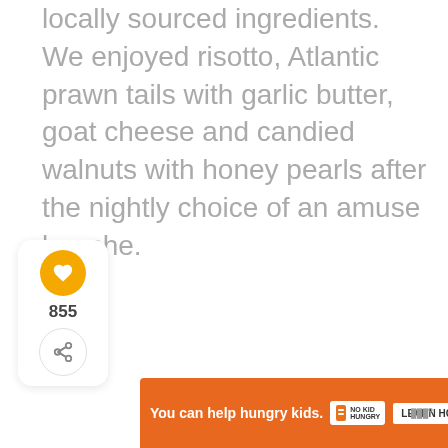locally sourced ingredients. We enjoyed risotto, Atlantic prawn tails with garlic butter, goat cheese and candied walnuts with honey pearls after the nightly choice of an amuse bouche.
[Figure (infographic): Social interaction panel with heart/like button showing 855 likes and a share button]
WHAT'S NEXT → Killarney, Ireland:...
[Figure (photo): Circular thumbnail photo of Killarney, Ireland landscape]
You can help hungry kids. NO KID HUNGRY LEARN HOW